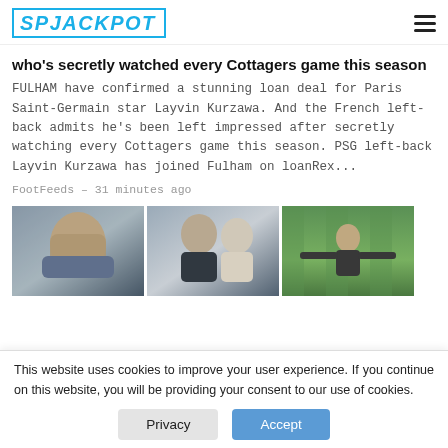SPJACKPOT
who's secretly watched every Cottagers game this season
FULHAM have confirmed a stunning loan deal for Paris Saint-Germain star Layvin Kurzawa. And the French left-back admits he's been left impressed after secretly watching every Cottagers game this season. PSG left-back Layvin Kurzawa has joined Fulham on loanRex...
FootFeeds – 31 minutes ago
[Figure (photo): Three side-by-side images showing a man covering his face, two men in conversation, and a man on a football pitch with arms spread wide]
This website uses cookies to improve your user experience. If you continue on this website, you will be providing your consent to our use of cookies.
Privacy   Accept